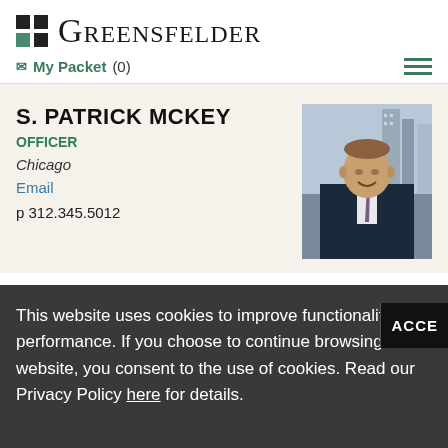[Figure (logo): Greensfelder law firm logo with colored squares grid and serif wordmark]
My Packet (0)
S. PATRICK MCKEY
OFFICER
Chicago
Email
p 312.345.5012
[Figure (photo): Professional headshot of S. Patrick McKey, male attorney in dark suit with tie, smiling, with city buildings in background]
This website uses cookies to improve functionality and performance. If you choose to continue browsing this website, you consent to the use of cookies. Read our Privacy Policy here for details.